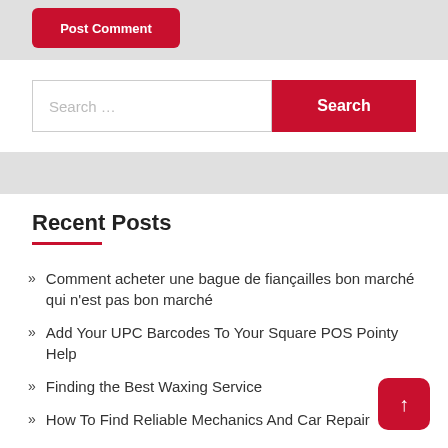Post Comment
Search …
Recent Posts
Comment acheter une bague de fiançailles bon marché qui n'est pas bon marché
Add Your UPC Barcodes To Your Square POS Pointy Help
Finding the Best Waxing Service
How To Find Reliable Mechanics And Car Repair